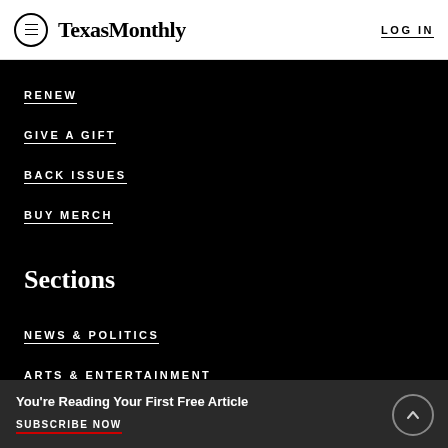Texas Monthly | LOG IN
RENEW
GIVE A GIFT
BACK ISSUES
BUY MERCH
Sections
NEWS & POLITICS
ARTS & ENTERTAINMENT
BEING TEXAN
You're Reading Your First Free Article
SUBSCRIBE NOW